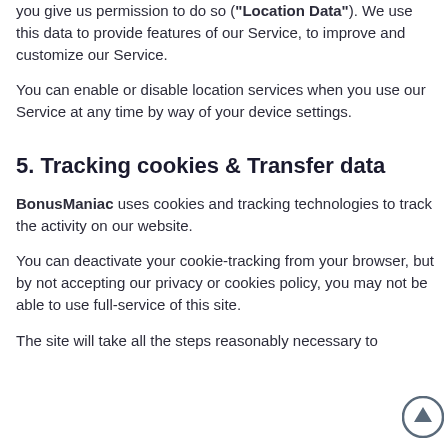you give us permission to do so ("Location Data"). We use this data to provide features of our Service, to improve and customize our Service.
You can enable or disable location services when you use our Service at any time by way of your device settings.
5. Tracking cookies & Transfer data
BonusManiac uses cookies and tracking technologies to track the activity on our website.
You can deactivate your cookie-tracking from your browser, but by not accepting our privacy or cookies policy, you may not be able to use full-service of this site.
The site will take all the steps reasonably necessary to